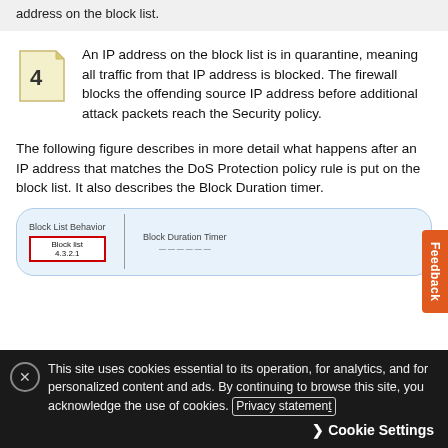address on the block list.
An IP address on the block list is in quarantine, meaning all traffic from that IP address is blocked. The firewall blocks the offending source IP address before additional attack packets reach the Security policy.
The following figure describes in more detail what happens after an IP address that matches the DoS Protection policy rule is put on the block list. It also describes the Block Duration timer.
[Figure (schematic): Partial diagram showing Block List Behavior on the left with a red-bordered Block List box labeled 4.3.2.1, and Block Duration Timer on the right, separated by a vertical divider.]
This site uses cookies essential to its operation, for analytics, and for personalized content and ads. By continuing to browse this site, you acknowledge the use of cookies. Privacy statement
Cookie Settings